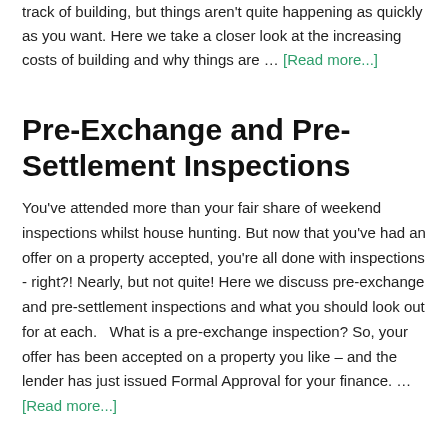track of building, but things aren't quite happening as quickly as you want. Here we take a closer look at the increasing costs of building and why things are … [Read more...]
Pre-Exchange and Pre-Settlement Inspections
You've attended more than your fair share of weekend inspections whilst house hunting. But now that you've had an offer on a property accepted, you're all done with inspections - right?! Nearly, but not quite! Here we discuss pre-exchange and pre-settlement inspections and what you should look out for at each.   What is a pre-exchange inspection? So, your offer has been accepted on a property you like – and the lender has just issued Formal Approval for your finance. … [Read more...]
Upgrading your home. Sell before you